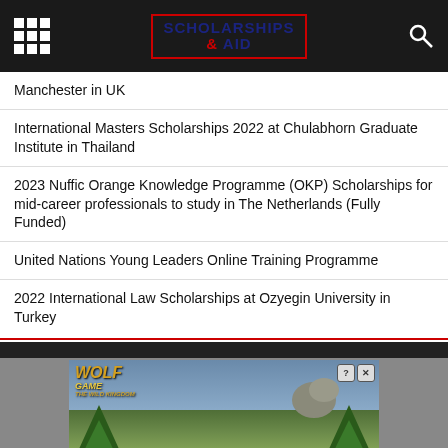SCHOLARSHIPS & AID
Manchester in UK
International Masters Scholarships 2022 at Chulabhorn Graduate Institute in Thailand
2023 Nuffic Orange Knowledge Programme (OKP) Scholarships for mid-career professionals to study in The Netherlands (Fully Funded)
United Nations Young Leaders Online Training Programme
2022 International Law Scholarships at Ozyegin University in Turkey
[Figure (photo): Wolf Game - The Wild Kingdom advertisement showing wolves with text 'THE HUNT IS ON!']